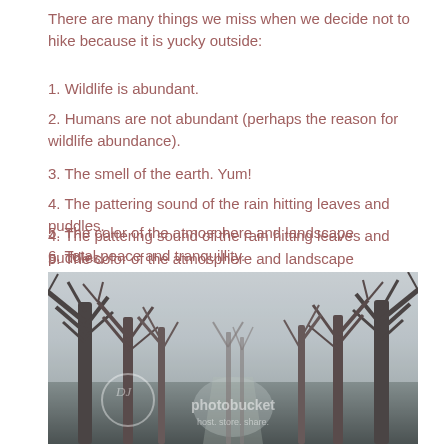There are many things we miss when we decide not to hike because it is yucky outside:
1. Wildlife is abundant.
2. Humans are not abundant (perhaps the reason for wildlife abundance).
3. The smell of the earth. Yum!
4. The pattering sound of the rain hitting leaves and puddles.
5. The color of the atmosphere and landscape
6. Total peace and tranquillity.
[Figure (photo): A misty, foggy forest path with bare leafless trees on both sides on a rainy grey day. A Photobucket watermark is visible on the image.]